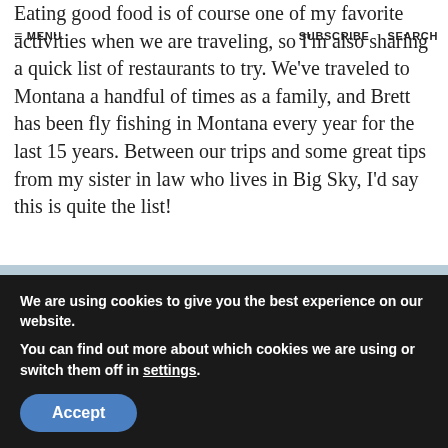≡ MENU    SUBSCRIBE    SEARCH
Eating good food is of course one of my favorite activities when we are traveling, so I'm also sharing a quick list of restaurants to try. We've traveled to Montana a handful of times as a family, and Brett has been fly fishing in Montana every year for the last 15 years. Between our trips and some great tips from my sister in law who lives in Big Sky, I'd say this is quite the list!
[Figure (photo): Landscape photo of a Montana forest scene with tall evergreen pine trees in the foreground, golden-brown grassy meadow, and mountains with snow visible in the background under a light sky.]
We are using cookies to give you the best experience on our website.
You can find out more about which cookies we are using or switch them off in settings.
Accept